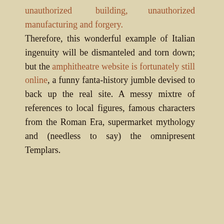unauthorized building, unauthorized manufacturing and forgery. Therefore, this wonderful example of Italian ingenuity will be dismanteled and torn down; but the amphitheatre website is fortunately still online, a funny fanta-history jumble devised to back up the real site. A messy mixtre of references to local figures, famous characters from the Roman Era, supermarket mythology and (needless to say) the omnipresent Templars.